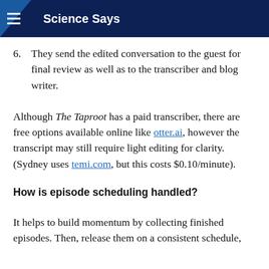Science Says
6. They send the edited conversation to the guest for final review as well as to the transcriber and blog writer.
Although The Taproot has a paid transcriber, there are free options available online like otter.ai, however the transcript may still require light editing for clarity. (Sydney uses temi.com, but this costs $0.10/minute).
How is episode scheduling handled?
It helps to build momentum by collecting finished episodes. Then, release them on a consistent schedule,